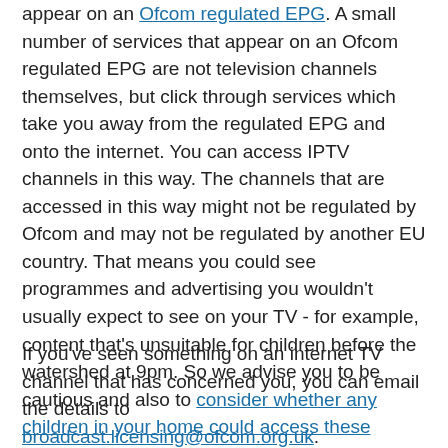appear on an Ofcom regulated EPG. A small number of services that appear on an Ofcom regulated EPG are not television channels themselves, but click through services which take you away from the regulated EPG and onto the internet. You can access IPTV channels in this way. The channels that are accessed in this way might not be regulated by Ofcom and may not be regulated by another EU country. That means you could see programmes and advertising you wouldn't usually expect to see on your TV - for example, content that's unsuitable for children before the watershed at 9pm. So we advise you to be cautious and also to consider whether any children in your home could access these channels.
If you've seen something on an internet TV channel that has concerned you, you can email the details to broadcast.licensing@ofcom.org.uk.